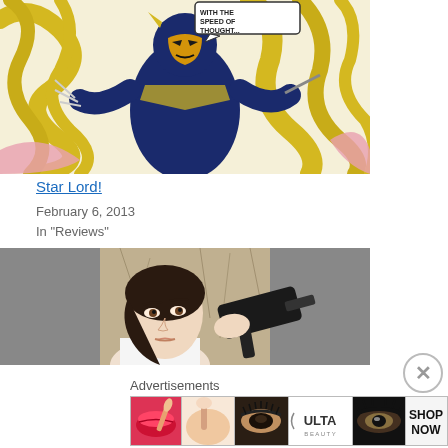[Figure (illustration): Comic book artwork showing a superhero character (Wolverine-like) in a dark blue and yellow costume fighting against multiple yellow-colored enemies. Speech bubble reads 'WITH THE SPEED OF THOUGHT...']
Star Lord!
February 6, 2013
In "Reviews"
[Figure (photo): A young woman with dark hair pulled back, wearing white, holding a large gun against a cracked stone wall background. Film still photo with gray side bars.]
Advertisements
[Figure (other): ULTA Beauty advertisement banner showing makeup imagery: red lips with brush, eye with makeup brush, ULTA logo, dramatic eye makeup, and 'SHOP NOW' text on white background.]